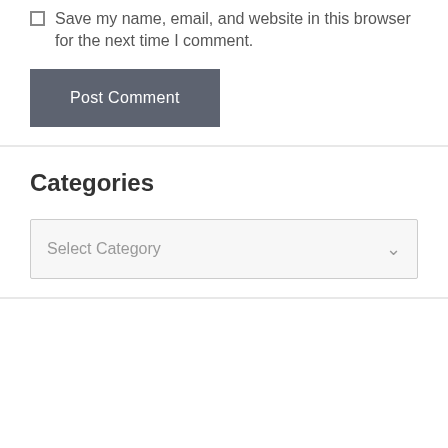Save my name, email, and website in this browser for the next time I comment.
Post Comment
Categories
Select Category